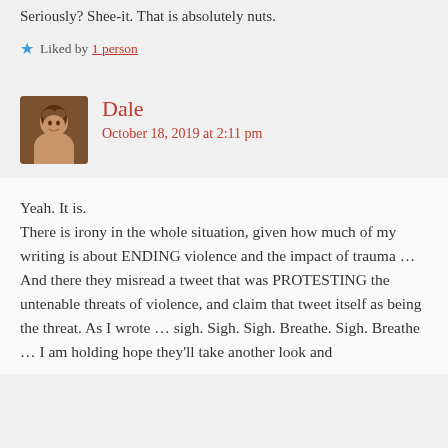Seriously? Shee-it. That is absolutely nuts.
Liked by 1 person
Dale
October 18, 2019 at 2:11 pm
Yeah. It is.
There is irony in the whole situation, given how much of my writing is about ENDING violence and the impact of trauma … And there they misread a tweet that was PROTESTING the untenable threats of violence, and claim that tweet itself as being the threat. As I wrote … sigh. Sigh. Sigh. Breathe. Sigh. Breathe … I am holding hope they'll take another look and